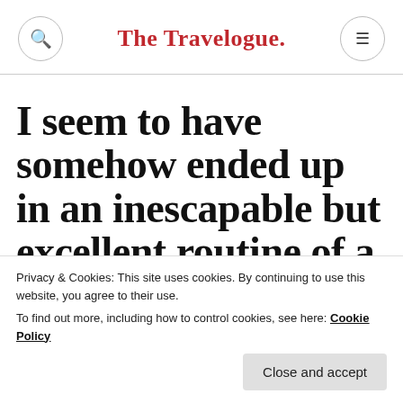The Travelogue.
I seem to have somehow ended up in an inescapable but excellent routine of a weekend away every time visit Bruges.
Privacy & Cookies: This site uses cookies. By continuing to use this website, you agree to their use.
To find out more, including how to control cookies, see here: Cookie Policy
Close and accept